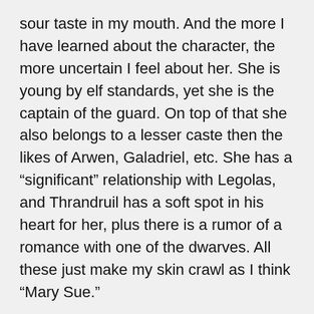sour taste in my mouth. And the more I have learned about the character, the more uncertain I feel about her. She is young by elf standards, yet she is the captain of the guard. On top of that she also belongs to a lesser caste then the likes of Arwen, Galadriel, etc. She has a “significant” relationship with Legolas, and Thrandruil has a soft spot in his heart for her, plus there is a rumor of a romance with one of the dwarves. All these just make my skin crawl as I think “Mary Sue.”
By all means, add a female character, but make them more than a cliche, don’t place them just because you don’t want a sausage fest — and make them relatable! Also women character do not need to have a romance! I will never understand Hollywood’s need to throw in romance where it is